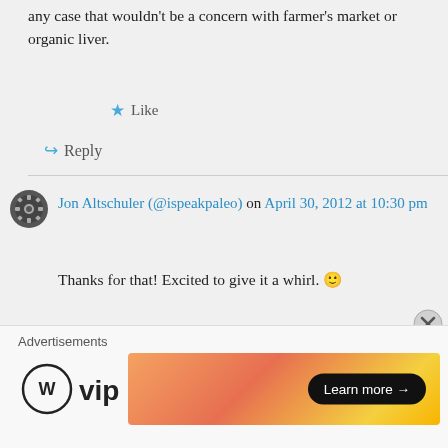any case that wouldn't be a concern with farmer's market or organic liver.
Like
Reply
Jon Altschuler (@ispeakpaleo) on April 30, 2012 at 10:30 pm
Thanks for that! Excited to give it a whirl. 🙂
Like
Advertisements
[Figure (logo): WordPress VIP logo with WP circle icon and 'vip' text]
[Figure (infographic): Advertisement banner with orange/yellow gradient background and 'Learn more →' button]